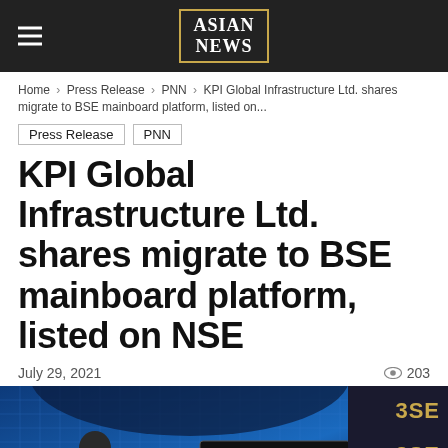Asian News
Home > Press Release > PNN > KPI Global Infrastructure Ltd. shares migrate to BSE mainboard platform, listed on...
Press Release
PNN
KPI Global Infrastructure Ltd. shares migrate to BSE mainboard platform, listed on NSE
July 29, 2021    203
[Figure (photo): Photo of a person at a BSE listing ceremony with digital ticker board showing 88:06, floral garland, SME and BSE logos, and Solar company branding visible]